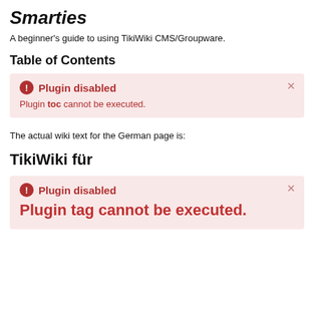Smarties
A beginner's guide to using TikiWiki CMS/Groupware.
Table of Contents
Plugin disabled
Plugin toc cannot be executed.
The actual wiki text for the German page is:
TikiWiki für
Plugin disabled
Plugin tag cannot be executed.